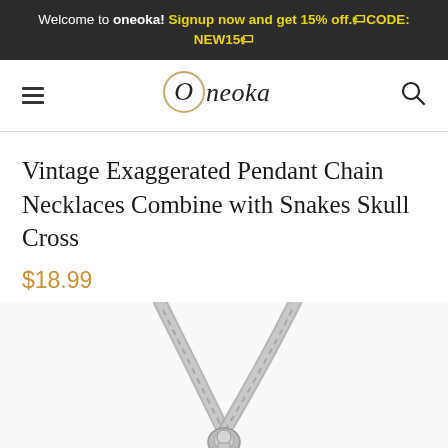Welcome to oneoka! Signup now and get 15% off.🏷CODE: NEW15🏷
[Figure (logo): Oneoka brand logo with stylized script font and oval border around 'O']
Vintage Exaggerated Pendant Chain Necklaces Combine with Snakes Skull Cross
$18.99
[Figure (photo): Close-up photo of a silver chain necklace forming a V-shape, with a skull/cross pendant at the bottom center, on white background]